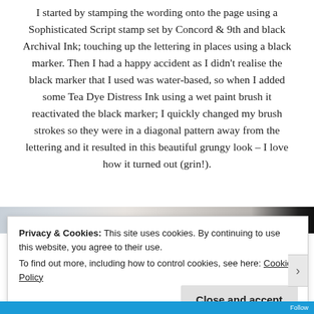I started by stamping the wording onto the page using a Sophisticated Script stamp set by Concord & 9th and black Archival Ink; touching up the lettering in places using a black marker. Then I had a happy accident as I didn't realise the black marker that I used was water-based, so when I added some Tea Dye Distress Ink using a wet paint brush it reactivated the black marker; I quickly changed my brush strokes so they were in a diagonal pattern away from the lettering and it resulted in this beautiful grungy look – I love how it turned out (grin!).
[Figure (photo): Partial photo strip visible behind cookie consent banner]
Privacy & Cookies: This site uses cookies. By continuing to use this website, you agree to their use.
To find out more, including how to control cookies, see here: Cookie Policy
Close and accept